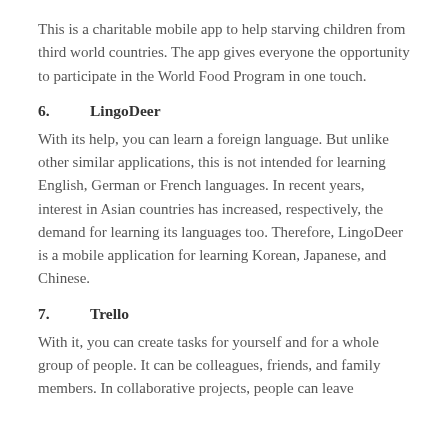This is a charitable mobile app to help starving children from third world countries. The app gives everyone the opportunity to participate in the World Food Program in one touch.
6.      LingoDeer
With its help, you can learn a foreign language. But unlike other similar applications, this is not intended for learning English, German or French languages. In recent years, interest in Asian countries has increased, respectively, the demand for learning its languages too. Therefore, LingoDeer is a mobile application for learning Korean, Japanese, and Chinese.
7.      Trello
With it, you can create tasks for yourself and for a whole group of people. It can be colleagues, friends, and family members. In collaborative projects, people can leave